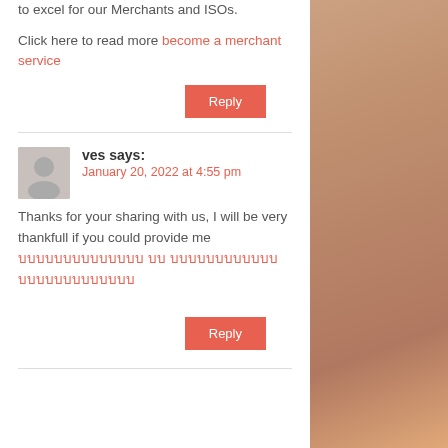to excel for our Merchants and ISOs.
Click here to read more become a merchant service
Reply
ves says:
January 20, 2022 at 4:55 pm
Thanks for your sharing with us, I will be very thankfull if you could provide me [link text in non-Latin script]
Reply